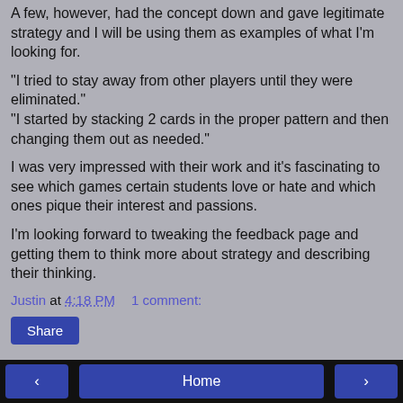A few, however, had the concept down and gave legitimate strategy and I will be using them as examples of what I'm looking for.
"I tried to stay away from other players until they were eliminated."
"I started by stacking 2 cards in the proper pattern and then changing them out as needed."
I was very impressed with their work and it's fascinating to see which games certain students love or hate and which ones pique their interest and passions.
I'm looking forward to tweaking the feedback page and getting them to think more about strategy and describing their thinking.
Justin at 4:18 PM    1 comment:
Share
< Home >